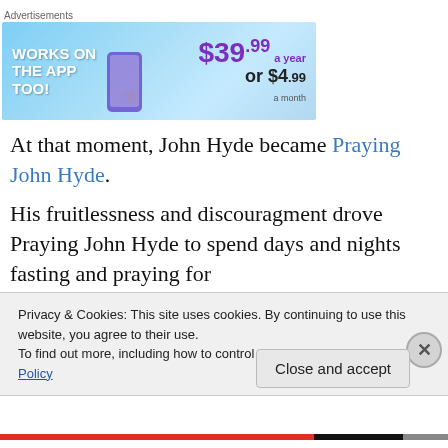[Figure (other): Advertisement banner showing 'WORKS ON THE APP TOO!' with pricing $39.99 a year or $4.99 a month on a blue gradient background]
At that moment, John Hyde became Praying John Hyde.
His fruitlessness and discouragment drove Praying John Hyde to spend days and nights fasting and praying for
Privacy & Cookies: This site uses cookies. By continuing to use this website, you agree to their use.
To find out more, including how to control cookies, see here: Cookie Policy
Close and accept